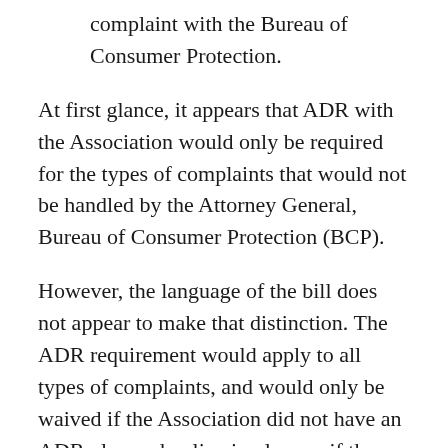complaint with the Bureau of Consumer Protection.
At first glance, it appears that ADR with the Association would only be required for the types of complaints that would not be handled by the Attorney General, Bureau of Consumer Protection (BCP).
However, the language of the bill does not appear to make that distinction. The ADR requirement would apply to all types of complaints, and would only be waived if the Association did not have an ADR plan and policy in place or if the Association refused to participate in ADR.